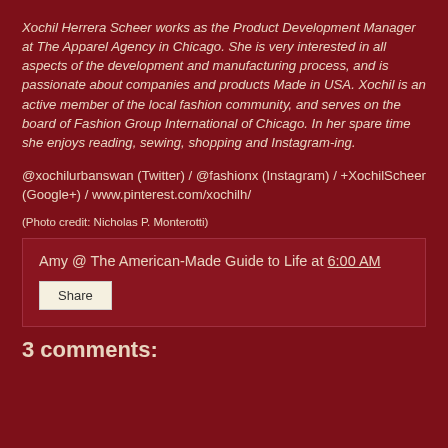Xochil Herrera Scheer works as the Product Development Manager at The Apparel Agency in Chicago. She is very interested in all aspects of the development and manufacturing process, and is passionate about companies and products Made in USA. Xochil is an active member of the local fashion community, and serves on the board of Fashion Group International of Chicago. In her spare time she enjoys reading, sewing, shopping and Instagram-ing.
@xochilurbanswan (Twitter) / @fashionx (Instagram) / +XochilScheer (Google+) / www.pinterest.com/xochilh/
(Photo credit: Nicholas P. Monterotti)
Amy @ The American-Made Guide to Life at 6:00 AM
Share
3 comments: